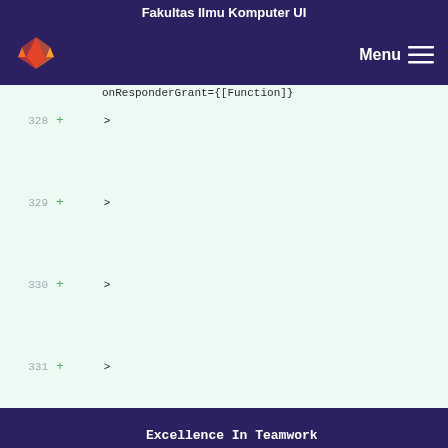Fakultas Ilmu Komputer UI
[Figure (logo): GitLab fox logo in orange on dark purple navigation bar with Menu hamburger icon]
onResponderGrant={[Function]}
328 + onResponderMove={[Function]}
329 + onResponderRelease={[Function]}
330 + onResponderTerminate={[Function]}
331 + onResponderTerminationRequest=
{[Function]}
332 + onStartShouldSetResponder=
{[Function]}
333 + style={
334 + Object {
335 +
Excellence In Teamwork